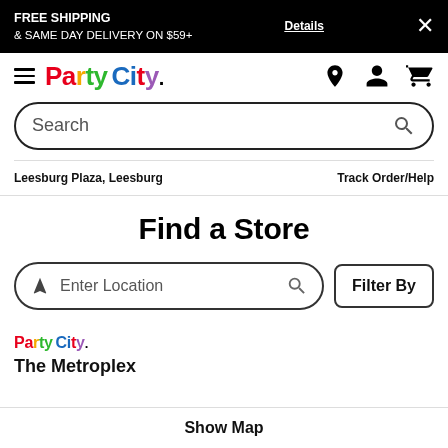FREE SHIPPING & SAME DAY DELIVERY ON $59+ Details ×
[Figure (logo): Party City logo with colorful letters]
Search
Leesburg Plaza, Leesburg
Track Order/Help
Find a Store
Enter Location
Filter By
[Figure (logo): Party City small logo]
The Metroplex
Show Map